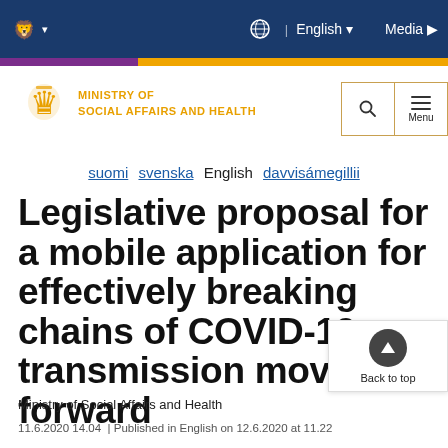Ministry of Social Affairs and Health — Finnish government website header with navigation: globe icon, English language selector, Media link
[Figure (logo): Ministry of Social Affairs and Health logo — Finnish lion emblem in gold with ministry name text]
suomi  svenska  English  davvisámegillii
Legislative proposal for a mobile application for effectively breaking chains of COVID-19 transmission moves forward
Ministry of Social Affairs and Health
11.6.2020 14.04  | Published in English on 12.6.2020 at 11.22